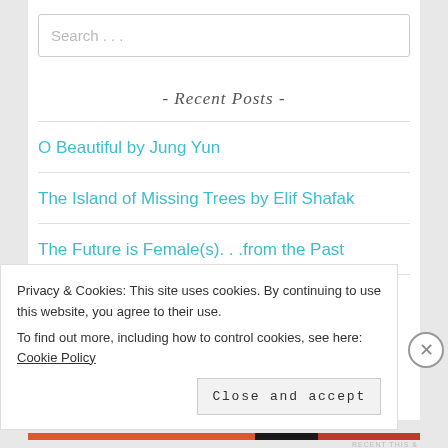Search ...
- Recent Posts -
O Beautiful by Jung Yun
The Island of Missing Trees by Elif Shafak
The Future is Female(s)...from the Past
Shout Gardens by...
Privacy & Cookies: This site uses cookies. By continuing to use this website, you agree to their use. To find out more, including how to control cookies, see here: Cookie Policy
Close and accept